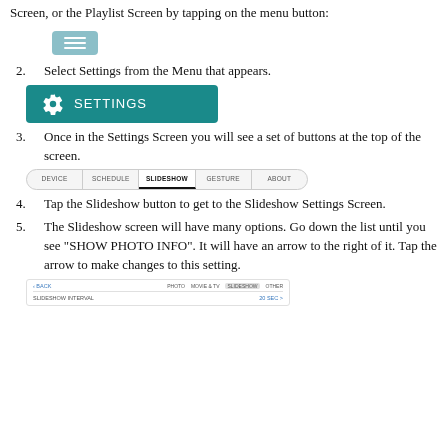Screen, or the Playlist Screen by tapping on the menu button:
[Figure (screenshot): Menu button screenshot showing a teal/blue button with three horizontal white lines (hamburger icon)]
2. Select Settings from the Menu that appears.
[Figure (screenshot): Settings button screenshot showing a teal button with a gear icon and the text SETTINGS]
3. Once in the Settings Screen you will see a set of buttons at the top of the screen.
[Figure (screenshot): Navigation tabs screenshot showing DEVICE, SCHEDULE, SLIDESHOW, GESTURE, ABOUT tabs]
4. Tap the Slideshow button to get to the Slideshow Settings Screen.
5. The Slideshow screen will have many options. Go down the list until you see "SHOW PHOTO INFO".  It will have an arrow to the right of it. Tap the arrow to make changes to this setting.
[Figure (screenshot): Bottom screenshot showing BACK navigation and SLIDESHOW INTERVAL setting row]